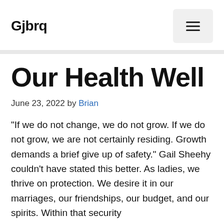Gjbrq
Our Health Well
June 23, 2022 by Brian
“If we do not change, we do not grow. If we do not grow, we are not certainly residing. Growth demands a brief give up of safety.” Gail Sheehy couldn’t have stated this better. As ladies, we thrive on protection. We desire it in our marriages, our friendships, our budget, and our spirits. Within that security